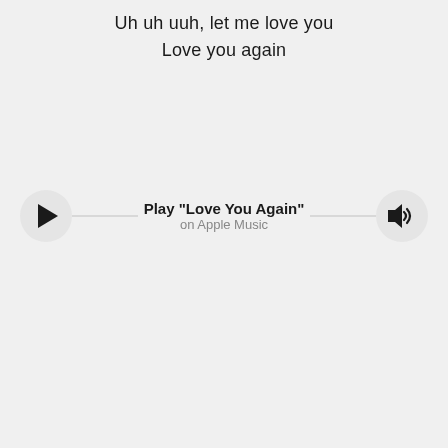Uh uh uuh, let me love you
Love you again
[Figure (other): Audio player bar with play button on left, speaker/volume icon on right, connected by a horizontal line, showing 'Play "Love You Again"' and 'on Apple Music' text in center]